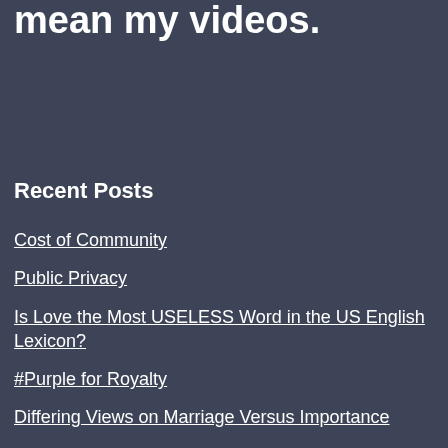mean my videos.
Recent Posts
Cost of Community
Public Privacy
Is Love the Most USELESS Word in the US English Lexicon?
#Purple for Royalty
Differing Views on Marriage Versus Importance